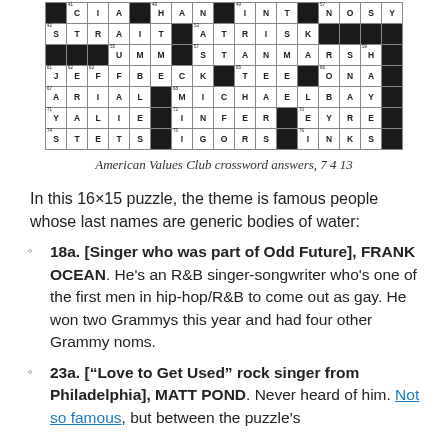[Figure (other): Partial crossword puzzle grid showing answers including CIA, HAN, INT, NOSY, STRAIT, ATRISK, UMM, STANMARSH, JEFFBECK, TEE, ONA, ARIAL, MICHAELBAY, YALIE, INFER, EYRE, STETS, IGORS, INKS]
American Values Club crossword answers, 7 4 13
In this 16×15 puzzle, the theme is famous people whose last names are generic bodies of water:
18a. [Singer who was part of Odd Future], FRANK OCEAN. He's an R&B singer-songwriter who's one of the first men in hip-hop/R&B to come out as gay. He won two Grammys this year and had four other Grammy noms.
23a. ["Love to Get Used" rock singer from Philadelphia], MATT POND. Never heard of him. Not so famous, but between the puzzle's